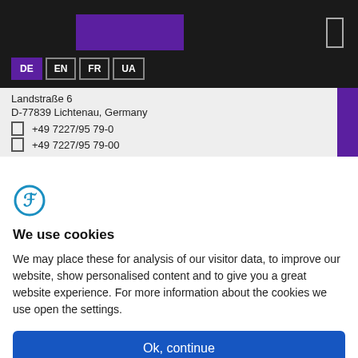Navigation bar with purple logo rectangle and language buttons DE, EN, FR, UA
Landstraße 6
D-77839 Lichtenau, Germany
+49 7227/95 79-0
+49 7227/95 79-00
[Figure (logo): Circular logo icon in blue/teal with letter F]
We use cookies
We may place these for analysis of our visitor data, to improve our website, show personalised content and to give you a great website experience. For more information about the cookies we use open the settings.
Ok, continue
Deny
No, adjust